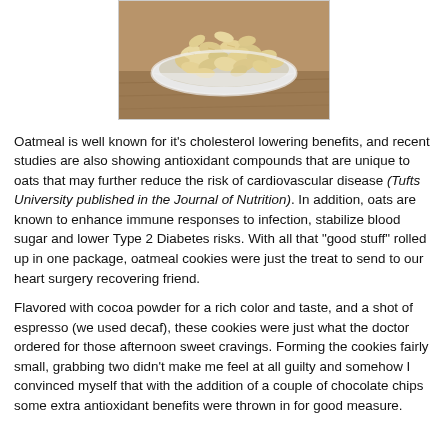[Figure (photo): Close-up photo of rolled oats in a white bowl on a wooden surface]
Oatmeal is well known for it's cholesterol lowering benefits, and recent studies are also showing antioxidant compounds that are unique to oats that may further reduce the risk of cardiovascular disease (Tufts University published in the Journal of Nutrition).  In addition, oats are known to enhance immune responses to infection, stabilize blood sugar and lower Type 2 Diabetes risks.  With all that "good stuff" rolled up in one package, oatmeal cookies were just the treat to send to our heart surgery recovering friend.
Flavored with cocoa powder for a rich color and taste, and a shot of espresso (we used decaf), these cookies were just what the doctor ordered for those afternoon sweet cravings.  Forming the cookies fairly small, grabbing two didn't make me feel at all guilty and somehow I convinced myself that with the addition of a couple of chocolate chips some extra antioxidant benefits were thrown in for good measure.